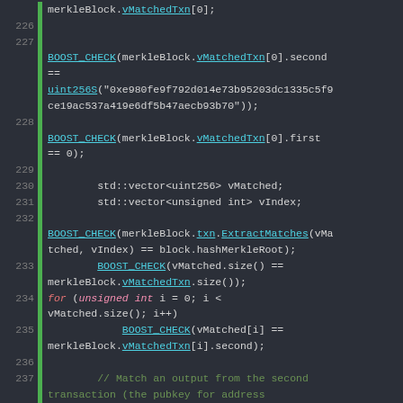[Figure (screenshot): Source code screenshot showing C++ unit test code lines 226-240 with syntax highlighting on a dark background. Lines include BOOST_CHECK assertions, vector declarations, a for loop, and comments about matching transactions and filter.insert with ParseHex calls.]